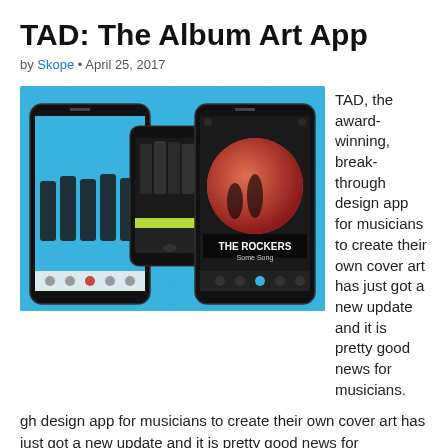TAD: The Album Art App
by Skope • April 25, 2017
[Figure (photo): Three smartphones displaying the TAD album art design app interface, showing musicians creating cover art, on a blue background.]
TAD, the award-winning, breakthrough design app for musicians to create their own cover art has just got a new update and it is pretty good news for musicians.
The app has integrated video technology into its features.
What does this mean for a musician?
Well first up, it means you can really add some punch to your